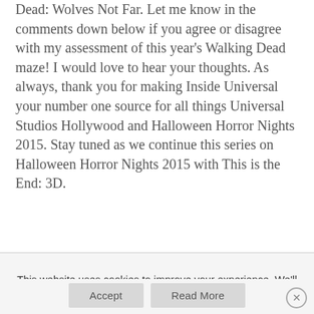Dead: Wolves Not Far. Let me know in the comments down below if you agree or disagree with my assessment of this year's Walking Dead maze! I would love to hear your thoughts. As always, thank you for making Inside Universal your number one source for all things Universal Studios Hollywood and Halloween Horror Nights 2015. Stay tuned as we continue this series on Halloween Horror Nights 2015 with This is the End: 3D.
This website uses cookies to improve your experience. We'll assume you're ok with this, but you can opt-out if you wish.